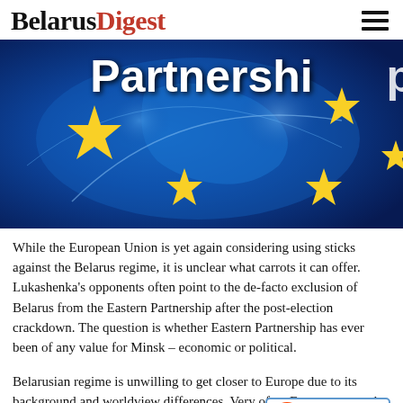BelarusDigest
[Figure (photo): EU Partnership banner image showing a blue globe/map with yellow EU stars and the word 'Partnership' in white text overlay]
While the European Union is yet again considering using sticks against the Belarus regime, it is unclear what carrots it can offer. Lukashenka's opponents often point to the de-facto exclusion of Belarus from the Eastern Partnership after the post-election crackdown. The question is whether Eastern Partnership has ever been of any value for Minsk – economic or political.
Belarusian regime is unwilling to get closer to Europe due to its background and worldview differences. Very often Europe pays only lip
[Figure (logo): Reddit 'submit this' button with alien logo]